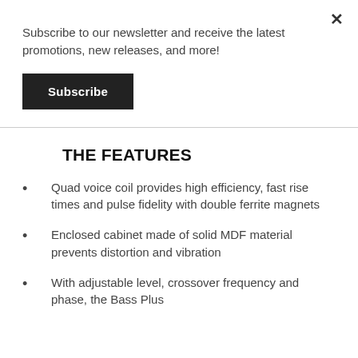Subscribe to our newsletter and receive the latest promotions, new releases, and more!
Subscribe
THE FEATURES
Quad voice coil provides high efficiency, fast rise times and pulse fidelity with double ferrite magnets
Enclosed cabinet made of solid MDF material prevents distortion and vibration
With adjustable level, crossover frequency and phase, the Bass Plus